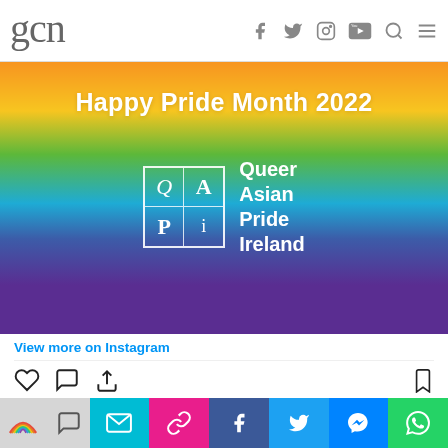gcn [with social media icons: Facebook, Twitter, Instagram, YouTube, Search, Menu]
[Figure (screenshot): Instagram post from queerasianpride.ie showing a rainbow gradient background with text 'Happy Pride Month 2022' and the Queer Asian Pride Ireland logo]
View more on Instagram
74 likes
queerasianpride.ie
[Figure (infographic): Bottom share bar with colored segments: grey (rainbow icon), grey (chat icon), teal (email icon), pink (link icon), blue (Facebook icon), light blue (Twitter icon), blue (Messenger icon), green (WhatsApp icon)]